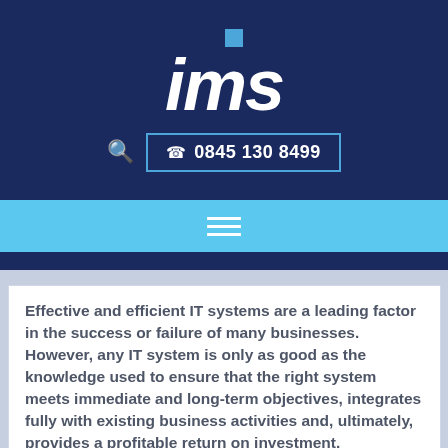[Figure (logo): IMS company logo with blue square dot above italic white 'ims' text on dark navy background, with search icon and phone button showing '0845 130 8499']
[Figure (infographic): Light blue navigation bar with white hamburger menu icon (three horizontal lines)]
Effective and efficient IT systems are a leading factor in the success or failure of many businesses. However, any IT system is only as good as the knowledge used to ensure that the right system meets immediate and long-term objectives, integrates fully with existing business activities and, ultimately, provides a profitable return on investment.
Manufacturers
While the basics for manufacturing success are the